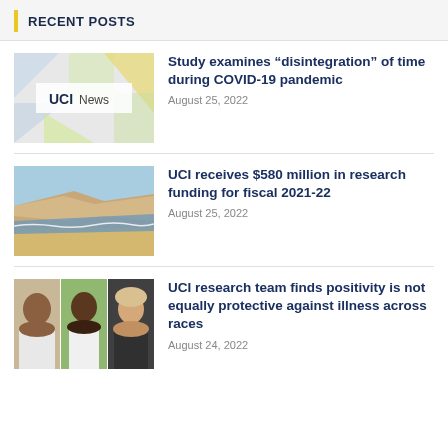RECENT POSTS
[Figure (photo): UCI News logo on geometric patterned background with blue, yellow and white shapes]
Study examines “disintegration” of time during COVID-19 pandemic
August 25, 2022
[Figure (photo): Coastal beach scene with sandy cliffs and ocean waves]
UCI receives $580 million in research funding for fiscal 2021-22
August 25, 2022
[Figure (photo): Three portrait photos of researchers side by side - a man and two women]
UCI research team finds positivity is not equally protective against illness across races
August 24, 2022